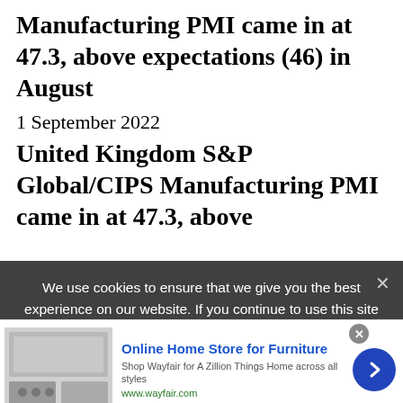Manufacturing PMI came in at 47.3, above expectations (46) in August
1 September 2022
United Kingdom S&P Global/CIPS Manufacturing PMI came in at 47.3, above
We use cookies to ensure that we give you the best experience on our website. If you continue to use this site we will assume that you are happy with it. We and our partners store and/or access information on a device, such as unique IDs in cookies to process personal data. You may accept or manage your choices by clicking below, including your right to object where legitimate interest is used, or at any time in the privacy policy page. These choices will be signalled to our partners and will not affect browsing data. We and our partners process data to provide: Use precise geolocation data. Actively scan device characteristics for identification. Store and/or
[Figure (screenshot): Wayfair online advertisement showing furniture store promotional banner with image of appliances, headline 'Online Home Store for Furniture', description text and URL, with a blue arrow button on the right]